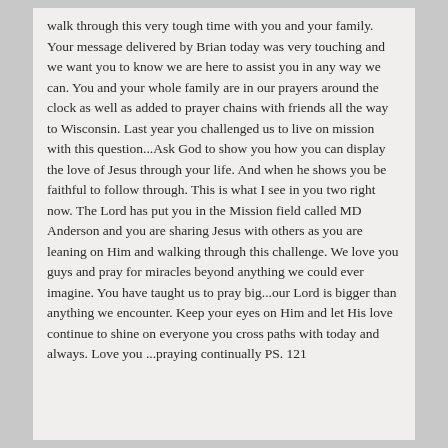walk through this very tough time with you and your family. Your message delivered by Brian today was very touching and we want you to know we are here to assist you in any way we can. You and your whole family are in our prayers around the clock as well as added to prayer chains with friends all the way to Wisconsin. Last year you challenged us to live on mission with this question...Ask God to show you how you can display the love of Jesus through your life. And when he shows you be faithful to follow through. This is what I see in you two right now. The Lord has put you in the Mission field called MD Anderson and you are sharing Jesus with others as you are leaning on Him and walking through this challenge. We love you guys and pray for miracles beyond anything we could ever imagine. You have taught us to pray big...our Lord is bigger than anything we encounter. Keep your eyes on Him and let His love continue to shine on everyone you cross paths with today and always. Love you ...praying continually PS. 121